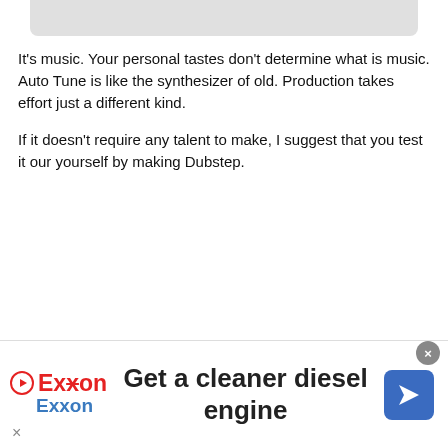It's music. Your personal tastes don't determine what is music. Auto Tune is like the synthesizer of old. Production takes effort just a different kind.

If it doesn't require any talent to make, I suggest that you test it our yourself by making Dubstep.
The following people thank Starr Shine? for this post:
pepperland
[Figure (photo): User avatar: person with dark bowl-cut hair, with colorful forum badges below]
If you can't log in and can't use the forum go here and someone
Get a cleaner diesel engine
Exxon